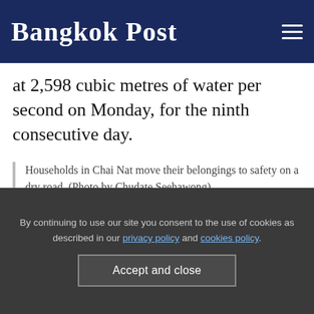Bangkok Post
at 2,598 cubic metres of water per second on Monday, for the ninth consecutive day.
Households in Chai Nat move their belongings to safety on a dry road. (Photo by Chudate Seehawong)
By continuing to use our site you consent to the use of cookies as described in our privacy policy and cookies policy.
Accept and close